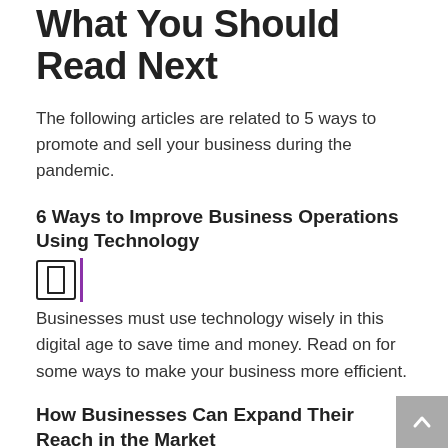What You Should Read Next
The following articles are related to 5 ways to promote and sell your business during the pandemic.
6 Ways to Improve Business Operations Using Technology
Businesses must use technology wisely in this digital age to save time and money. Read on for some ways to make your business more efficient.
How Businesses Can Expand Their Reach in the Market
To take your business to the next level, you have to